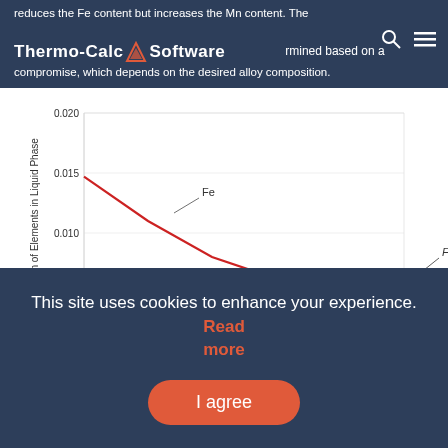Thermo-Calc Software
reduces the Fe content but increases the Mn content. The optimum Mn addition can be determined based on a compromise, which depends on the desired alloy composition.
[Figure (line-chart): ]
This site uses cookies to enhance your experience. Read more
I agree